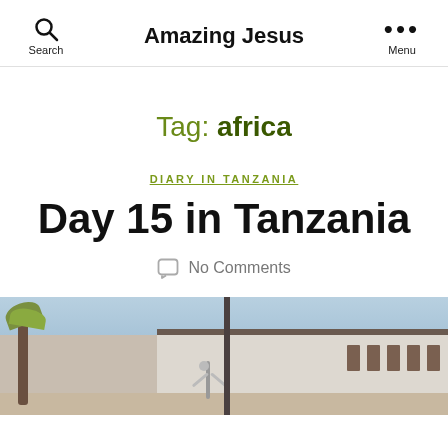Amazing Jesus — Search | Menu
Tag: africa
DIARY IN TANZANIA
Day 15 in Tanzania
No Comments
[Figure (photo): A person with arms raised standing in front of a light-colored building with arched windows, with a palm tree visible on the left.]